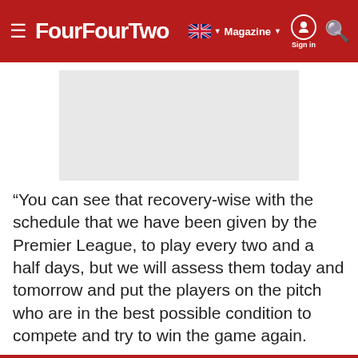FourFourTwo
[Figure (other): Gray advertisement placeholder rectangle]
“You can see that recovery-wise with the schedule that we have been given by the Premier League, to play every two and a half days, but we will assess them today and tomorrow and put the players on the pitch who are in the best possible condition to compete and try to win the game again.
Looks like you're in the US! Visit
[Figure (other): McAlister's On-The-Go advertisement banner with McAlister's Deli text and navigation icon]